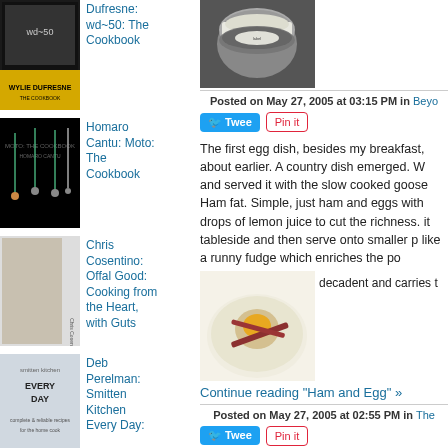[Figure (photo): Book cover: Wylie Dufresne wd~50: The Cookbook]
Dufresne: wd~50: The Cookbook
[Figure (photo): Book cover: Homaro Cantu: Moto: The Cookbook]
Homaro Cantu: Moto: The Cookbook
[Figure (photo): Book cover: Chris Cosentino: Offal Good: Cooking from the Heart, with Guts]
Chris Cosentino: Offal Good: Cooking from the Heart, with Guts
[Figure (photo): Book cover: Deb Perelman: Smitten Kitchen Every Day:]
Deb Perelman: Smitten Kitchen Every Day:
[Figure (photo): Photo of a small tin container with white granules/salt]
Posted on May 27, 2005 at 03:15 PM in Beyo
Tweet
Pin it
The first egg dish, besides my breakfast, about earlier.  A country dish emerged.  W and served it with the slow cooked goose Ham fat.  Simple, just ham and eggs with drops of lemon juice to cut the richness. it tableside and then serve onto smaller p like a runny fudge which enriches the po decadent and carries t
[Figure (photo): Photo of a fried egg dish on a plate with ham]
Continue reading "Ham and Egg" »
Posted on May 27, 2005 at 02:55 PM in The
Tweet
Pin it